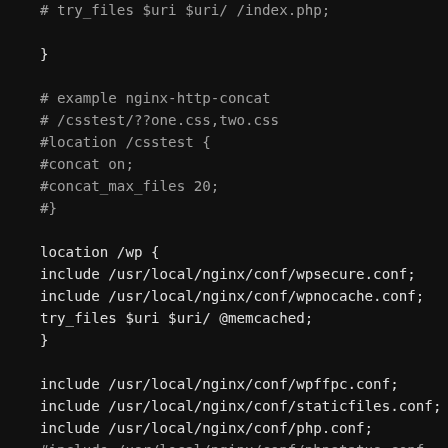# try_files $uri $uri/ /index.php;

}

# example nginx-http-concat
# /csstest/??one.css,two.css
#location /csstest {
#concat on;
#concat_max_files 20;
#}

location /wp {
include /usr/local/nginx/conf/wpsecure.conf;
include /usr/local/nginx/conf/wpnocache.conf;
try_files $uri $uri/ @memcached;
}

include /usr/local/nginx/conf/wpffpc.conf;
include /usr/local/nginx/conf/staticfiles.conf;
include /usr/local/nginx/conf/php.conf;
#include /usr/local/nginx/conf/phpstatus.conf;
include /usr/local/nginx/conf/drop.conf;
#include /usr/local/nginx/conf/errorpage.conf;

}